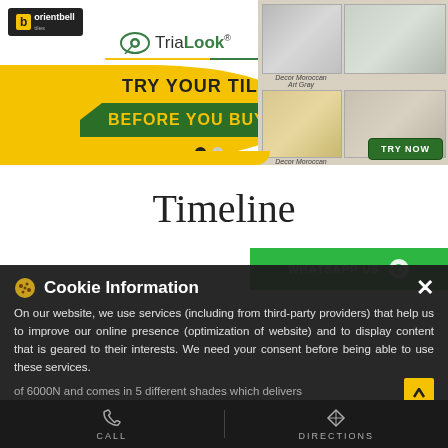[Figure (screenshot): OrientBell TriaLook banner ad: 'TRY YOUR TILES BEFORE YOU BUY' with yellow/green design, tile images on right, TRY NOW button]
Timeline
[Figure (screenshot): WHATSAPP US green button with WhatsApp icon]
Cookie Information
On our website, we use services (including from third-party providers) that help us to improve our online presence (optimization of website) and to display content that is geared to their interests. We need your consent before being able to use these services. of 6000N and comes in 5 different shades which delivers
I ACCEPT
CALL
DIRECTIONS